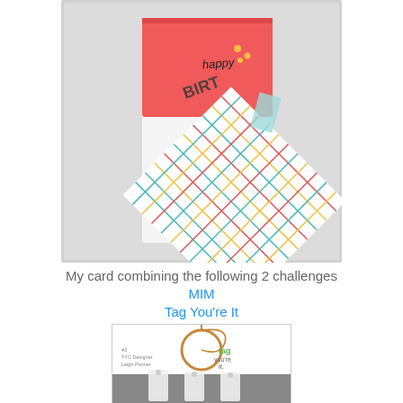[Figure (photo): A handmade birthday card featuring a coral/red top panel with 'happy' text and yellow gems, layered with a diagonal colorful plaid/grid patterned paper in red, yellow, teal, and white, with decorative tags hanging from the side. Card is displayed against a light grey/white background.]
My card combining the following 2 challenges
MIM
Tag You're It
[Figure (photo): A blog graphic or challenge card image showing the 'Tag You're It' challenge. Features a kraft/brown circular tag with string, the text 'tag you're it' in green lettering, and mentions 'TYC Designer Leigh Penner'. A photo of physical white gift tags is partially visible at the bottom.]